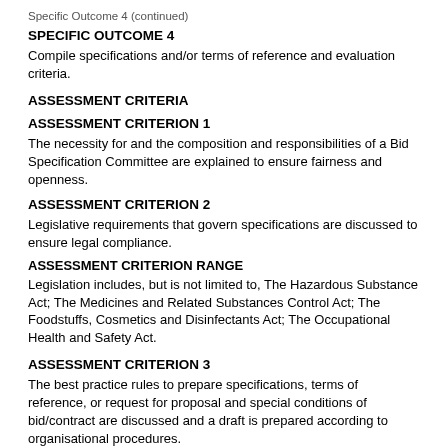Specific Outcome 4 (continued)
SPECIFIC OUTCOME 4
Compile specifications and/or terms of reference and evaluation criteria.
ASSESSMENT CRITERIA
ASSESSMENT CRITERION 1
The necessity for and the composition and responsibilities of a Bid Specification Committee are explained to ensure fairness and openness.
ASSESSMENT CRITERION 2
Legislative requirements that govern specifications are discussed to ensure legal compliance.
ASSESSMENT CRITERION RANGE
Legislation includes, but is not limited to, The Hazardous Substance Act; The Medicines and Related Substances Control Act; The Foodstuffs, Cosmetics and Disinfectants Act; The Occupational Health and Safety Act.
ASSESSMENT CRITERION 3
The best practice rules to prepare specifications, terms of reference, or request for proposal and special conditions of bid/contract are discussed and a draft is prepared according to organisational procedures.
ASSESSMENT CRITERION RANGE
Specifications include technical specifications, standardised specifications acceptable by suppliers, the suppliers' market and organisations.